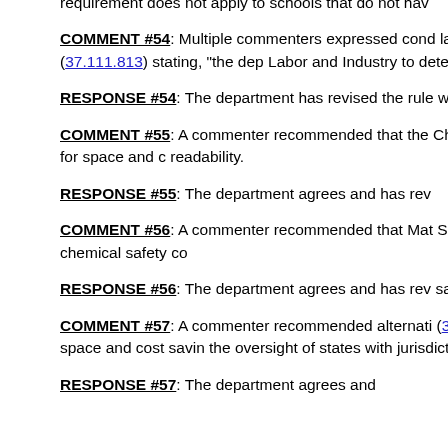requirement does not apply to schools that do not hav
COMMENT #54: Multiple commenters expressed conc language in New Rule III (37.111.813) stating, "the dep Labor and Industry to determine if stop work orders are
RESPONSE #54: The department has revised the rule work orders.
COMMENT #55: A commenter recommended that the Chemical Hygiene Plan, CHP, to allow for space and c readability.
RESPONSE #55: The department agrees and has rev
COMMENT #56: A commenter recommended that Mat Safety Data Sheets to meet current chemical safety co
RESPONSE #56: The department agrees and has rev safety convention.
COMMENT #57: A commenter recommended alternati (37.111.813) that would allow for space and cost savin the oversight of states with jurisdiction over these area
RESPONSE #57: The department agrees and